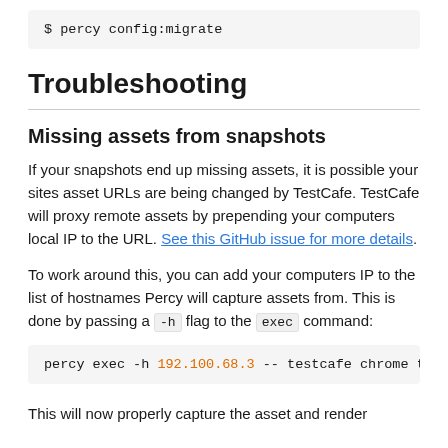$ percy config:migrate
Troubleshooting
Missing assets from snapshots
If your snapshots end up missing assets, it is possible your sites asset URLs are being changed by TestCafe. TestCafe will proxy remote assets by prepending your computers local IP to the URL. See this GitHub issue for more details.
To work around this, you can add your computers IP to the list of hostnames Percy will capture assets from. This is done by passing a -h flag to the exec command:
percy exec -h 192.100.68.3  -- testcafe chrome te
This will now properly capture the asset and render